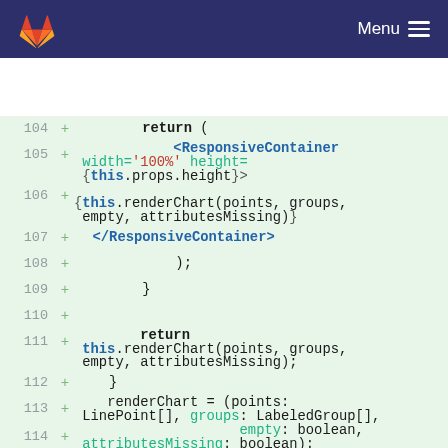GitLab — Menu
[Figure (screenshot): GitLab code diff viewer showing lines 104-114 of a TypeScript/JavaScript file with added lines (marked with +) on a light green background. Code shows a return statement with ResponsiveContainer JSX component and renderChart method calls.]